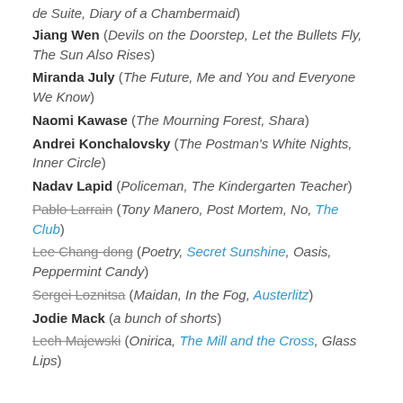de Suite, Diary of a Chambermaid)
Jiang Wen (Devils on the Doorstep, Let the Bullets Fly, The Sun Also Rises)
Miranda July (The Future, Me and You and Everyone We Know)
Naomi Kawase (The Mourning Forest, Shara)
Andrei Konchalovsky (The Postman's White Nights, Inner Circle)
Nadav Lapid (Policeman, The Kindergarten Teacher)
Pablo Larrain [strikethrough] (Tony Manero, Post Mortem, No, The Club [blue])
Lee Chang-dong [strikethrough] (Poetry, Secret Sunshine [blue], Oasis, Peppermint Candy)
Sergei Loznitsa [strikethrough] (Maidan, In the Fog, Austerlitz [blue])
Jodie Mack (a bunch of shorts)
Lech Majewski [strikethrough] (Onirica, The Mill and the Cross [blue], Glass Lips)